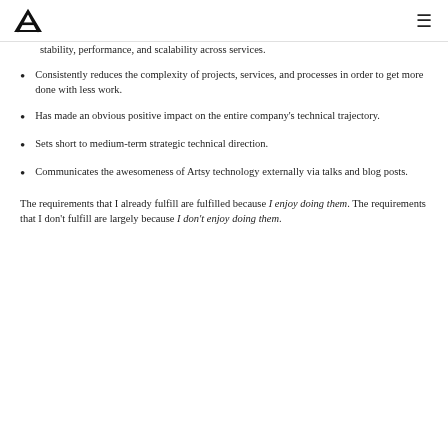AF logo | hamburger menu
stability, performance, and scalability across services.
Consistently reduces the complexity of projects, services, and processes in order to get more done with less work.
Has made an obvious positive impact on the entire company's technical trajectory.
Sets short to medium-term strategic technical direction.
Communicates the awesomeness of Artsy technology externally via talks and blog posts.
The requirements that I already fulfill are fulfilled because I enjoy doing them. The requirements that I don't fulfill are largely because I don't enjoy doing them.